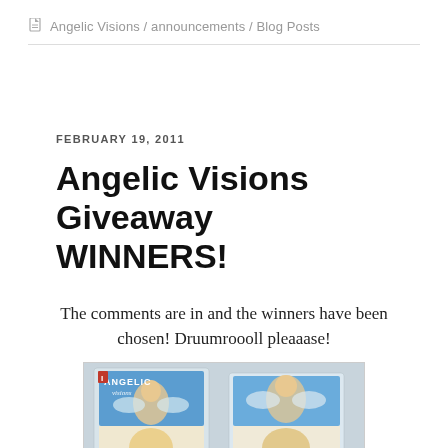Angelic Visions / announcements / Blog Posts
FEBRUARY 19, 2011
Angelic Visions Giveaway WINNERS!
The comments are in and the winners have been chosen! Druumroooll pleaaase!
[Figure (photo): Two copies of Angelic Visions magazine covers showing illustrated angel artwork on a light background]